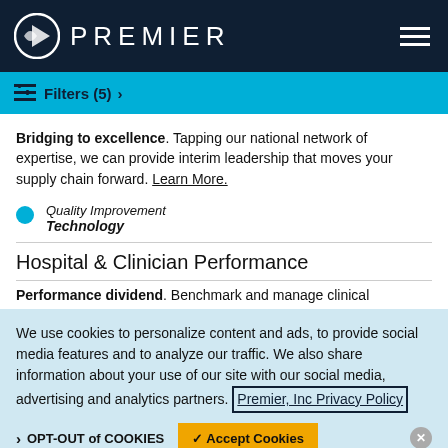PREMIER
Filters (5)
Bridging to excellence. Tapping our national network of expertise, we can provide interim leadership that moves your supply chain forward. Learn More.
Quality Improvement
Technology
Hospital & Clinician Performance
Performance dividend. Benchmark and manage clinical
We use cookies to personalize content and ads, to provide social media features and to analyze our traffic. We also share information about your use of our site with our social media, advertising and analytics partners. Premier, Inc Privacy Policy
OPT-OUT of COOKIES   ✓ Accept Cookies